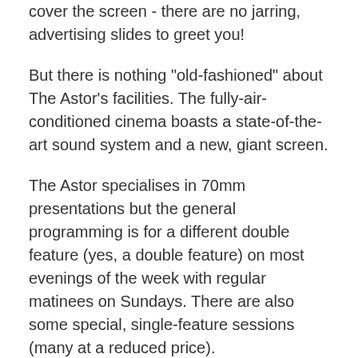cover the screen - there are no jarring, advertising slides to greet you!
But there is nothing "old-fashioned" about The Astor's facilities. The fully-air-conditioned cinema boasts a state-of-the-art sound system and a new, giant screen.
The Astor specialises in 70mm presentations but the general programming is for a different double feature (yes, a double feature) on most evenings of the week with regular matinees on Sundays. There are also some special, single-feature sessions (many at a reduced price).
The Astor Theatre presents a mix of older films and recent releases along with special seasons of major re-